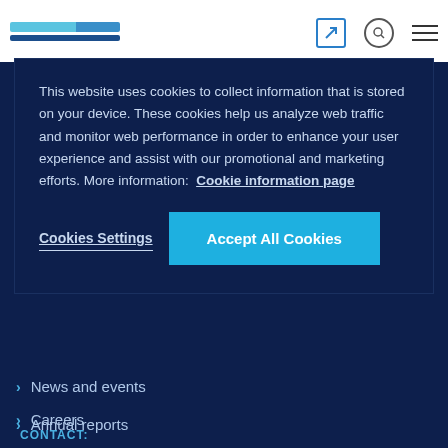Website header with logo and navigation icons
This website uses cookies to collect information that is stored on your device. These cookies help us analyze web traffic and monitor web performance in order to enhance your user experience and assist with our promotional and marketing efforts. More information: Cookie information page
Cookies Settings
Accept All Cookies
News and events
Careers
Annual reports
CONTACT: